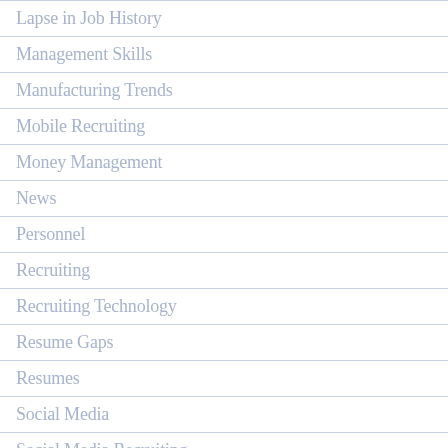Lapse in Job History
Management Skills
Manufacturing Trends
Mobile Recruiting
Money Management
News
Personnel
Recruiting
Recruiting Technology
Resume Gaps
Resumes
Social Media
Social Media Recruiting